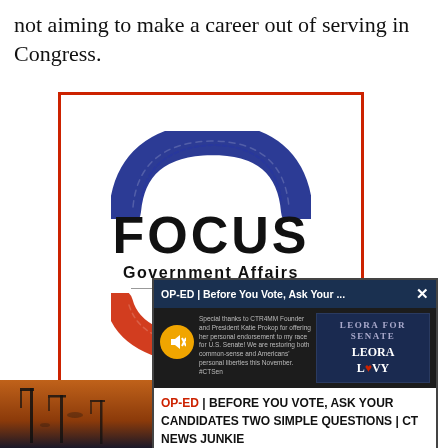not aiming to make a career out of serving in Congress.
[Figure (logo): Focus Government Affairs logo — bold blue semicircle arc on top, bold text 'FOCUS' in black, 'Government Affairs' subtitle, horizontal divider, red brushstroke arc on bottom, all inside a red-bordered square frame.]
[Figure (screenshot): Popup overlay showing 'OP-ED | Before You Vote, Ask Your ...' header in dark blue bar with X close button, video thumbnail of Leora Levy logo, muted speaker icon in orange circle, small text about CTR4MM endorsement, and bottom section reading 'OP-ED | BEFORE YOU VOTE, ASK YOUR CANDIDATES TWO SIMPLE QUESTIONS | CT NEWS JUNKIE' in bold black with red 'OP-ED' label.]
[Figure (photo): Bottom-left partial photo showing construction cranes against an orange/dark sky at dusk.]